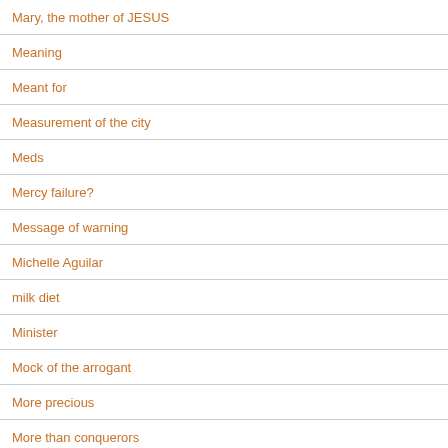Mary, the mother of JESUS
Meaning
Meant for
Measurement of the city
Meds
Mercy failure?
Message of warning
Michelle Aguilar
milk diet
Minister
Mock of the arrogant
More precious
More than conquerors